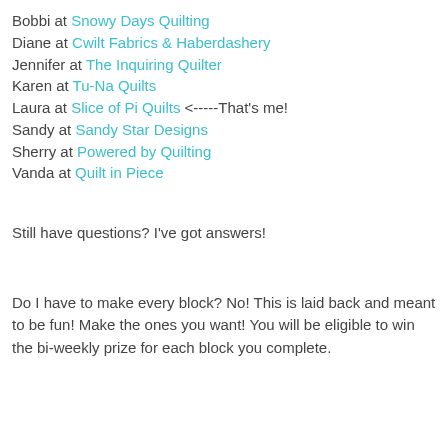Bobbi at Snowy Days Quilting
Diane at Cwilt Fabrics & Haberdashery
Jennifer at The Inquiring Quilter
Karen at Tu-Na Quilts
Laura at Slice of Pi Quilts <-----That's me!
Sandy at Sandy Star Designs
Sherry at Powered by Quilting
Vanda at Quilt in Piece
Still have questions? I've got answers!
Do I have to make every block? No! This is laid back and meant to be fun! Make the ones you want! You will be eligible to win the bi-weekly prize for each block you complete.